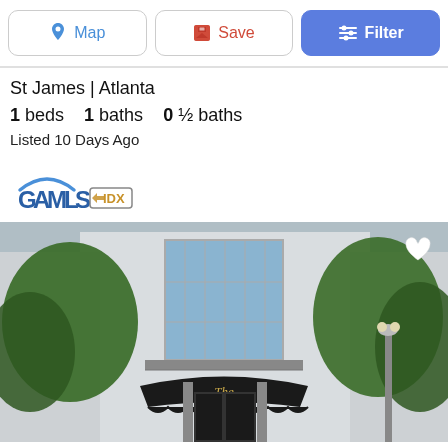[Figure (screenshot): Toolbar with Map, Save, and Filter buttons]
St James | Atlanta
1 beds  1 baths  0 ½ baths
Listed 10 Days Ago
[Figure (logo): GAMLS IDX logo]
[Figure (photo): Exterior photo of The St James building in Atlanta, showing a classic building facade with large windows, balconies, trees, street lamps, and a black awning reading 'The St James']